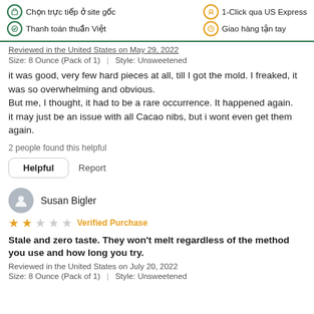Chọn trực tiếp ở site gốc | Thanh toán thuần Việt | 1-Click qua US Express | Giao hàng tận tay
Reviewed in the United States on May 29, 2022
Size: 8 Ounce (Pack of 1)  |  Style: Unsweetened
it was good, very few hard pieces at all, till I got the mold. I freaked, it was so overwhelming and obvious.
But me, I thought, it had to be a rare occurrence. It happened again.
it may just be an issue with all Cacao nibs, but i wont even get them again.
2 people found this helpful
Helpful   Report
Susan Bigler
★★☆☆☆ Verified Purchase
Stale and zero taste. They won't melt regardless of the method you use and how long you try.
Reviewed in the United States on July 20, 2022
Size: 8 Ounce (Pack of 1)  |  Style: Unsweetened